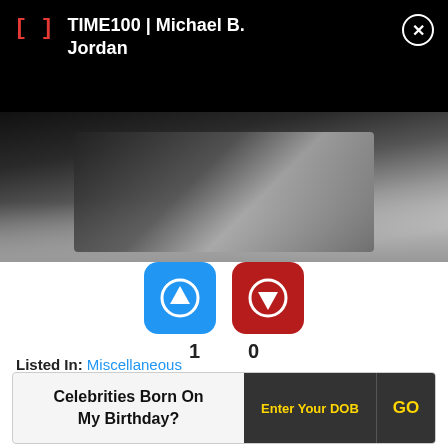TIME100 | Michael B. Jordan
[Figure (photo): Black and white photo of Michael B. Jordan wearing a military-style jacket with epaulettes]
[Figure (infographic): Vote up button (blue) count 1, vote down button (red) count 0]
Listed In: Miscellaneous
Birthdate: 11th May
Sun Sign: Taurus
Celebrities Born On My Birthday? Enter Your DOB GO